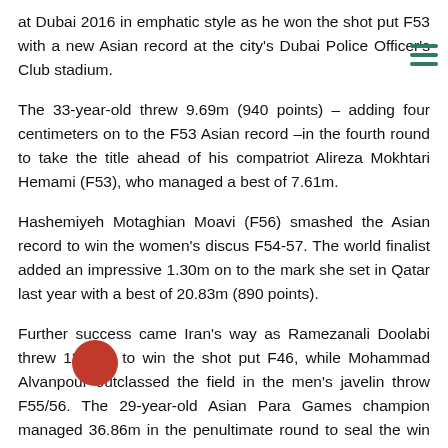at Dubai 2016 in emphatic style as he won the shot put F53 with a new Asian record at the city's Dubai Police Officer's Club stadium.
The 33-year-old threw 9.69m (940 points) – adding four centimeters on to the F53 Asian record –in the fourth round to take the title ahead of his compatriot Alireza Mokhtari Hemami (F53), who managed a best of 7.61m.
Hashemiyeh Motaghian Moavi (F56) smashed the Asian record to win the women's discus F54-57. The world finalist added an impressive 1.30m on to the mark she set in Qatar last year with a best of 20.83m (890 points).
Further success came Iran's way as Ramezanali Doolabi threw 13.14m to win the shot put F46, while Mohammad Alvanpour outclassed the field in the men's javelin throw F55/56. The 29-year-old Asian Para Games champion managed 36.86m in the penultimate round to seal the win ahead of Vietnam's shot put F55/56 champion Be Hau Nguyenon.
On the track there was gold for Iran's Amin Abdolpour